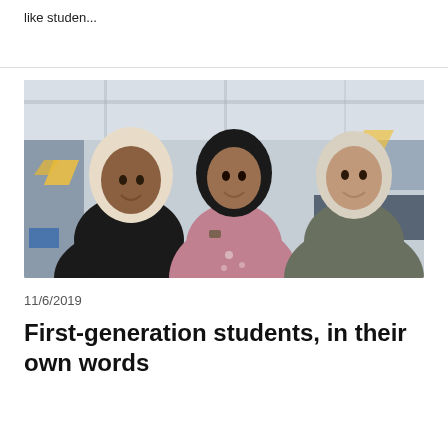like studen...
[Figure (photo): Three young women wearing hijabs smiling together indoors at a university campus, with a bookstore sign visible in the background]
11/6/2019
First-generation students, in their own words